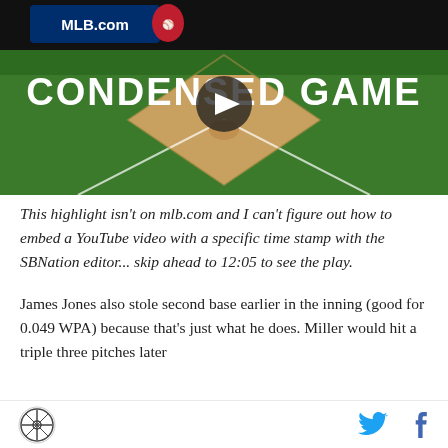[Figure (screenshot): MLB.com Condensed Game video thumbnail showing an aerial view of a baseball diamond with a play button overlay in the center. The MLB.com logo and shield are visible in the upper left. White text reads 'CONDENSED GAME'.]
This highlight isn't on mlb.com and I can't figure out how to embed a YouTube video with a specific time stamp with the SBNation editor... skip ahead to 12:05 to see the play.
James Jones also stole second base earlier in the inning (good for 0.049 WPA) because that's just what he does. Miller would hit a triple three pitches later